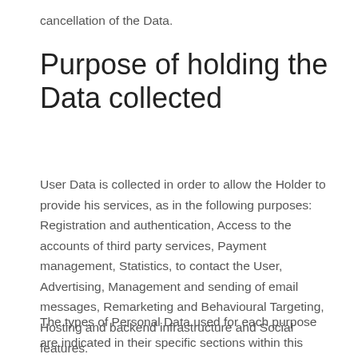cancellation of the Data.
Purpose of holding the Data collected
User Data is collected in order to allow the Holder to provide his services, as in the following purposes: Registration and authentication, Access to the accounts of third party services, Payment management, Statistics, to contact the User, Advertising, Management and sending of email messages, Remarketing and Behavioural Targeting, Hosting and backend infrastructure and Social features.
The types of Personal Data used for each purpose are indicated in their specific sections within this